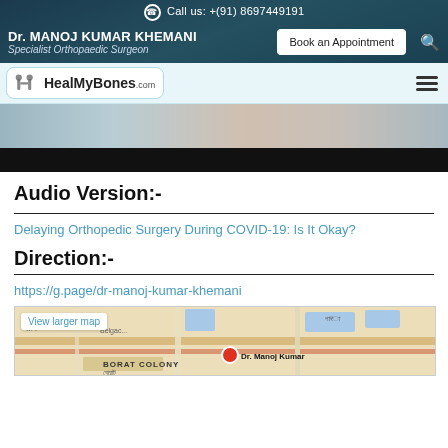Call us: +(91) 8697449191
Dr. MANOJ KUMAR KHEMANI | Specialist Orthopaedic Surgeon | Book an Appointment
[Figure (logo): HealMyBones.com logo with navigation hamburger menu]
[Figure (photo): Blurred medical/surgical scene with dark bar below]
Audio Version:-
Delaying Orthopedic Surgery During COVID-19: Is It Okay?
Direction:-
https://g.page/dr-manoj-kumar-khemani
[Figure (map): Google Maps embed showing location of Dr. Manoj Kumar Khemani with 'View larger map' link, BORAT COLONY label, Bengali script, and red location pin]